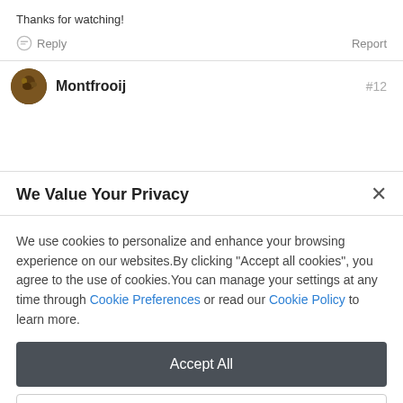Thanks for watching!
Reply   Report
Montfrooij  #12
We Value Your Privacy
We use cookies to personalize and enhance your browsing experience on our websites.By clicking "Accept all cookies", you agree to the use of cookies.You can manage your settings at any time through Cookie Preferences or read our Cookie Policy to learn more.
Accept All
Cookie Preferences